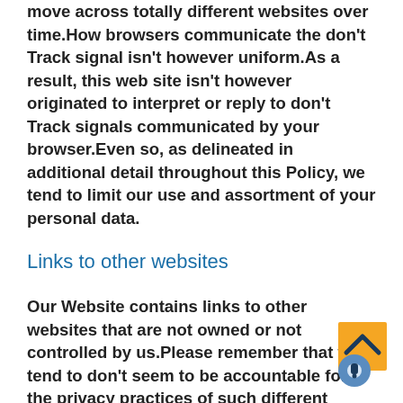move across totally different websites over time.How browsers communicate the don't Track signal isn't however uniform.As a result, this web site isn't however originated to interpret or reply to don't Track signals communicated by your browser.Even so, as delineated in additional detail throughout this Policy, we tend to limit our use and assortment of your personal data.
Links to other websites
Our Website contains links to other websites that are not owned or not controlled by us.Please remember that we tend to don't seem to be accountable for the privacy practices of such different websites or third-parties.We encourage you to remember once you leave our we tend to website and to scan the privacy
[Figure (other): Orange scroll-to-top button with upward chevron arrow icon, partially overlapping a circular notification/settings icon]